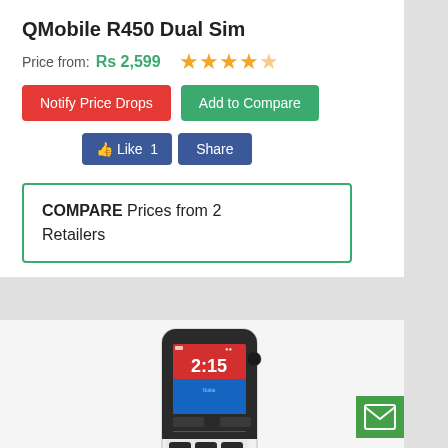QMobile R450 Dual Sim
Price from: Rs 2,599
Notify Price Drops | Add to Compare
Like 1 | Share
COMPARE Prices from 2 Retailers
[Figure (photo): Nokia 215 mobile phone with colorful display showing 2:15, white body with black keypad]
Nokia 215
Price from: Rs 4,100
Notify Price Drops | Add to Compare